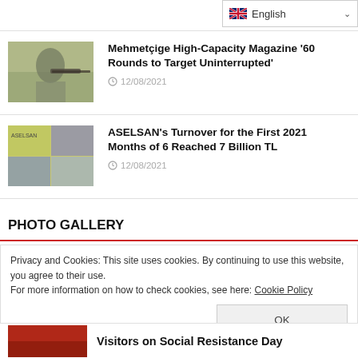English (language selector)
[Figure (photo): Soldier in camouflage uniform aiming a rifle outdoors]
Mehmetçige High-Capacity Magazine '60 Rounds to Target Uninterrupted'
12/08/2021
[Figure (photo): ASELSAN collage of technology and defense products]
ASELSAN's Turnover for the First 2021 Months of 6 Reached 7 Billion TL
12/08/2021
PHOTO GALLERY
Privacy and Cookies: This site uses cookies. By continuing to use this website, you agree to their use.
For more information on how to check cookies, see here: Cookie Policy
[Figure (photo): Partial news thumbnail at bottom]
Visitors on Social Resistance Day